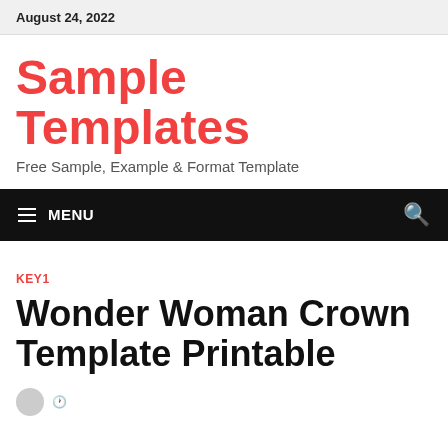August 24, 2022
Sample Templates
Free Sample, Example & Format Template
≡ MENU
KEY1
Wonder Woman Crown Template Printable